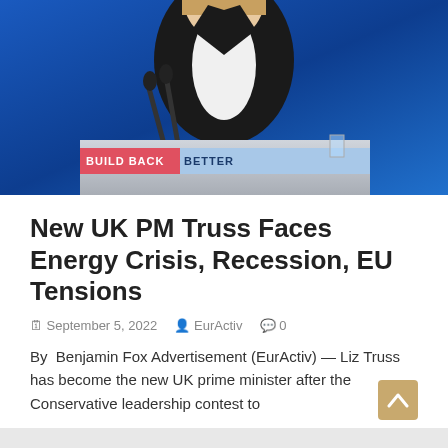[Figure (photo): Liz Truss speaking at a podium with 'BUILD BACK BETTER' sign in front, wearing a black blazer and white blouse, against a blue background with microphones visible]
New UK PM Truss Faces Energy Crisis, Recession, EU Tensions
September 5, 2022   EurActiv   0
By  Benjamin Fox Advertisement (EurActiv) — Liz Truss has become the new UK prime minister after the Conservative leadership contest to